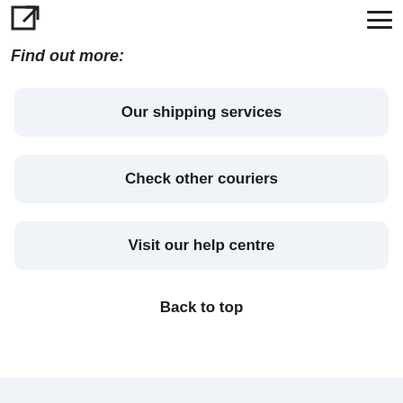Find out more:
Our shipping services
Check other couriers
Visit our help centre
Back to top